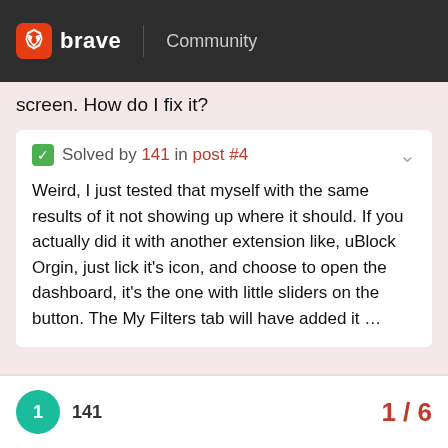brave | Community
screen. How do I fix it?
✅ Solved by 141 in post #4
Weird, I just tested that myself with the same results of it not showing up where it should. If you actually did it with another extension like, uBlock Orgin, just lick it's icon, and choose to open the dashboard, it's the one with little sliders on the button. The My Filters tab will have added it ...
created Nov '20  last reply Nov '20  5 replies
141  1/6